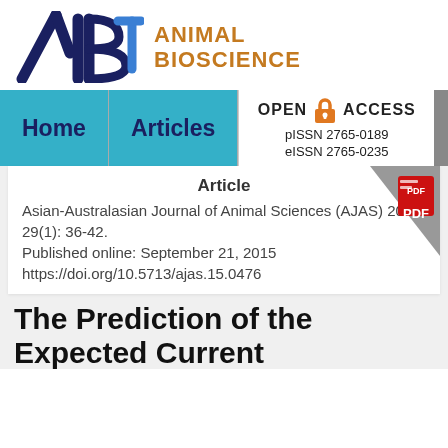[Figure (logo): Animal Bioscience journal logo with stylized AB letters in dark blue and orange text reading ANIMAL BIOSCIENCE]
Home   Articles   OPEN ACCESS   pISSN 2765-0189   eISSN 2765-0235
Article
Asian-Australasian Journal of Animal Sciences (AJAS) 2016; 29(1): 36-42.
Published online: September 21, 2015
https://doi.org/10.5713/ajas.15.0476
The Prediction of the Expected Current